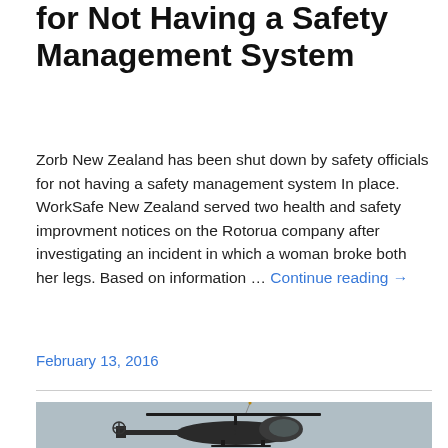for Not Having a Safety Management System
Zorb New Zealand has been shut down by safety officials for not having a safety management system In place. WorkSafe New Zealand served two health and safety improvment notices on the Rotorua company after investigating an incident in which a woman broke both her legs. Based on information … Continue reading →
February 13, 2016
[Figure (photo): A dark-colored helicopter on a grey sky background, photographed from the side showing the tail, main body, rotor and skids.]